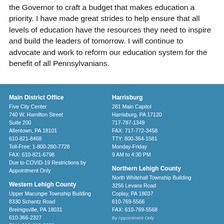the Governor to craft a budget that makes education a priority. I have made great strides to help ensure that all levels of education have the resources they need to inspire and build the leaders of tomorrow. I will continue to advocate and work to reform our education system for the benefit of all Pennsylvanians.
Main District Office
Five City Center
740 W. Hamilton Street
Suite 200
Allentown, PA 18101
610-821-8468
Toll-Free: 1-800-280-7728
FAX: 610-821-6798
Due to COVID-19 Restrictions by Appointment Only
Harrisburg
281 Main Capitol
Harrisburg, PA 17120
717-787-1349
FAX: 717-772-3458
TTY: 800-364-1581
Monday-Friday
9 AM to 4:30 PM
Western Lehigh County
Upper Macungie Township Building
8330 Schantz Road
Breinigsville, PA 18031
610-366-2327
FAX: 610-366-2329
Northern Lehigh County
North Whitehall Township Building
3256 Levans Road
Coplay, PA 18037
610-769-5566
FAX: 610-769-5568